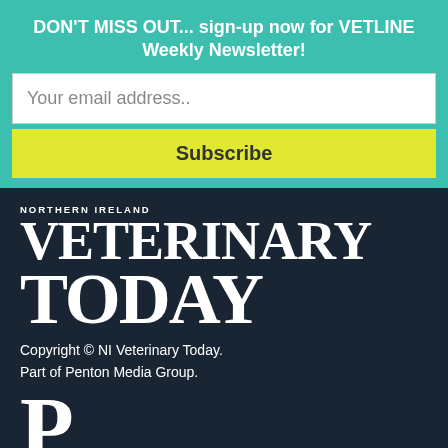DON'T MISS OUT... sign-up now for VETLINE Weekly Newsletter!
Your email address..
Subscribe
[Figure (logo): Northern Ireland Veterinary Today logo with large serif text reading VETERINARY TODAY on dark background]
Copyright © NI Veterinary Today.
Part of Penton Media Group.
[Figure (logo): Penton Media Group logo: large serif P letter above text PENTON MEDIA GROUP in white on dark background]
To advertise with us call 028 9045 7457